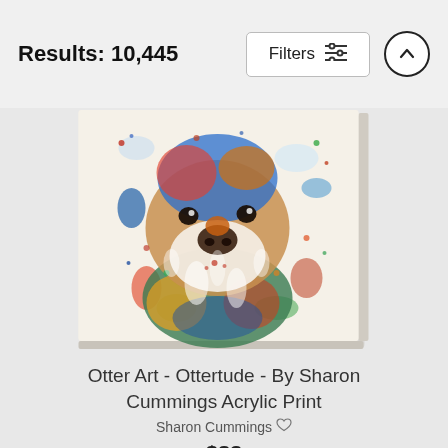Results: 10,445
[Figure (illustration): Colorful acrylic paint splatter artwork of an otter (groundhog/beaver) facing forward, painted in bright blues, greens, oranges, reds and yellows on a light background, displayed as a wrapped canvas print with visible side edges.]
Otter Art - Ottertude - By Sharon Cummings Acrylic Print
Sharon Cummings
$83